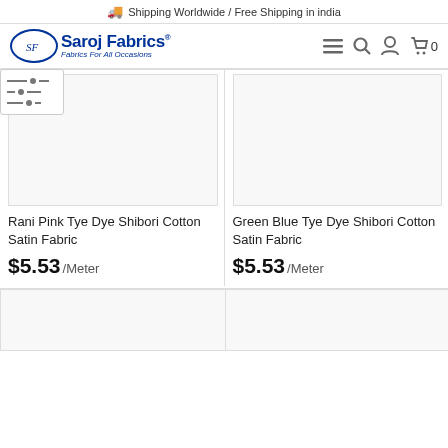🚚 Shipping Worldwide / Free Shipping in india
[Figure (logo): Saroj Fabrics logo with oval emblem and tagline 'Fabrics For All Occasions']
Rani Pink Tye Dye Shibori Cotton Satin Fabric
$5.53 /Meter
Green Blue Tye Dye Shibori Cotton Satin Fabric
$5.53 /Meter